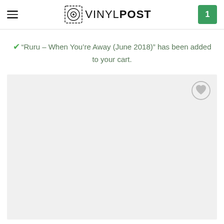VINYLPOST
"Ruru – When You're Away (June 2018)" has been added to your cart.
[Figure (other): Product image area with light gray background and a heart/wishlist button in top right corner]